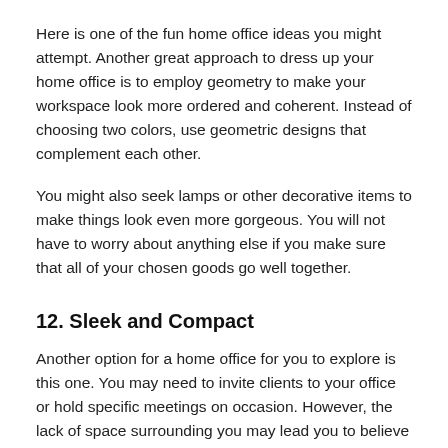Here is one of the fun home office ideas you might attempt. Another great approach to dress up your home office is to employ geometry to make your workspace look more ordered and coherent. Instead of choosing two colors, use geometric designs that complement each other.
You might also seek lamps or other decorative items to make things look even more gorgeous. You will not have to worry about anything else if you make sure that all of your chosen goods go well together.
12. Sleek and Compact
Another option for a home office for you to explore is this one. You may need to invite clients to your office or hold specific meetings on occasion. However, the lack of space surrounding you may lead you to believe that you cannot entertain guests.